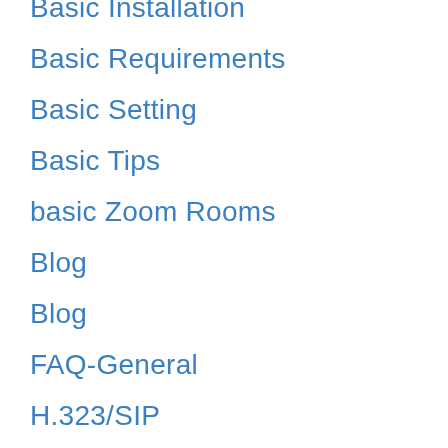Basic Installation
Basic Requirements
Basic Setting
Basic Tips
basic Zoom Rooms
Blog
Blog
FAQ-General
H.323/SIP
Integration
Join & Hold Meeting
Joining & Starting
Meetings & Webinars
Messaging